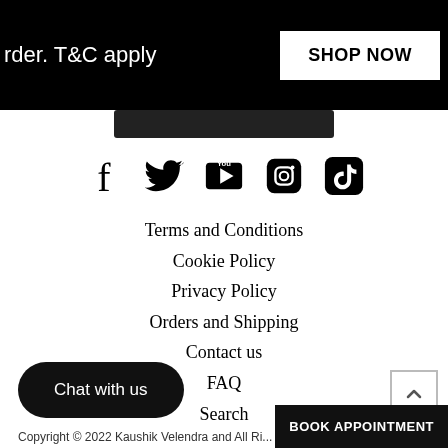rder. T&C apply   SHOP NOW
[Figure (infographic): Social media icons row: Facebook, Twitter, YouTube, Instagram, TikTok]
Terms and Conditions
Cookie Policy
Privacy Policy
Orders and Shipping
Contact us
FAQ
Search
Terms of Service
Refund policy
Chat with us
Copyright © 2022 Kaushik Velendra and All Rights Reserved
BOOK APPOINTMENT